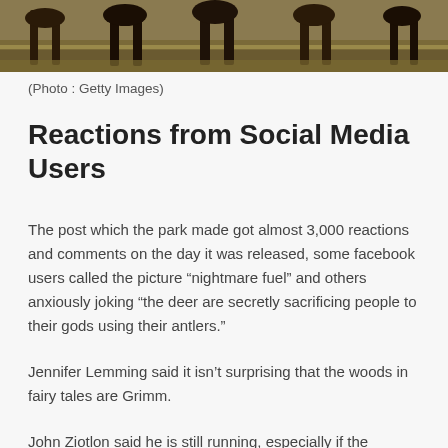[Figure (photo): Close-up photo of deer legs and lower body standing on dry grass, viewed from ground level]
(Photo : Getty Images)
Reactions from Social Media Users
The post which the park made got almost 3,000 reactions and comments on the day it was released, some facebook users called the picture “nightmare fuel” and others anxiously joking “the deer are secretly sacrificing people to their gods using their antlers.”
Jennifer Lemming said it isn’t surprising that the woods in fairy tales are Grimm.
John Ziotlon said he is still running, especially if the